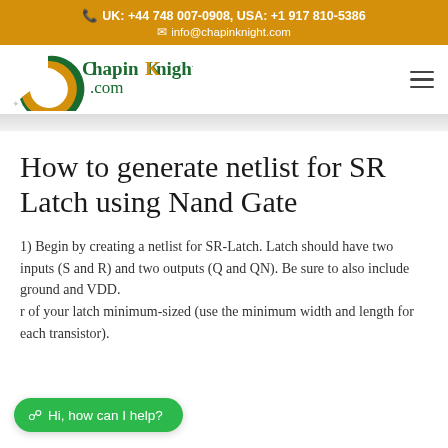📞 UK: +44 748 007-0908, USA: +1 917 810-5386
✉ info@chapinknight.com
[Figure (logo): ChapinKnight.com logo with green and gold circular C symbol and dark green text]
How to generate netlist for SR Latch using Nand Gate
1) Begin by creating a netlist for SR-Latch. Latch should have two inputs (S and R) and two outputs (Q and QN). Be sure to also include ground and VDD. Make all transistor of your latch minimum-sized (use the minimum width and length for each transistor).